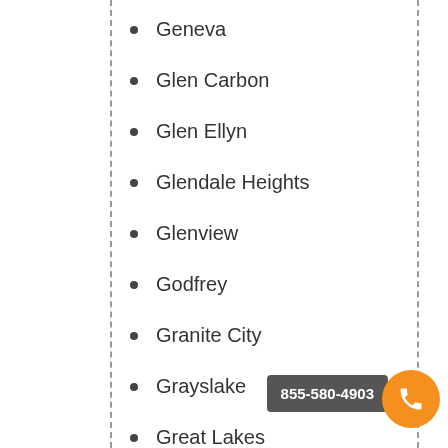Geneva
Glen Carbon
Glen Ellyn
Glendale Heights
Glenview
Godfrey
Granite City
Grayslake
Great Lakes
Gurnee
855-580-4903